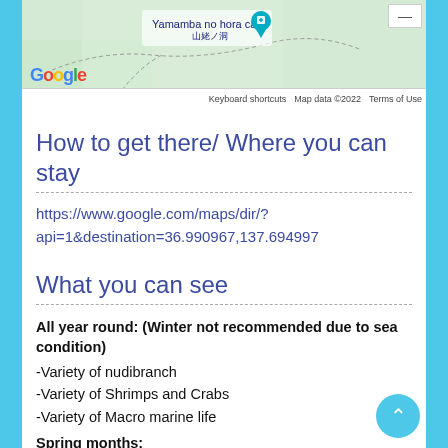[Figure (screenshot): Google Maps screenshot showing Yamamba no hora cave (山姥ノ洞) location with terrain map, Google logo, keyboard shortcuts, map data copyright 2022, and Terms of Use footer.]
How to get there/ Where you can stay
https://www.google.com/maps/dir/?api=1&destination=36.990967,137.694997
What you can see
All year round: (Winter not recommended due to sea condition)
-Variety of nudibranch
-Variety of Shrimps and Crabs
-Variety of Macro marine life
Spring months: